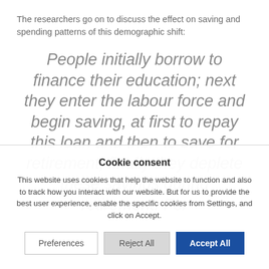The researchers go on to discuss the effect on saving and spending patterns of this demographic shift:
People initially borrow to finance their education; next they enter the labour force and begin saving, at first to repay this loan and then to save for retirement; finally they deplete these savings during retirement. For
Cookie consent
This website uses cookies that help the website to function and also to track how you interact with our website. But for us to provide the best user experience, enable the specific cookies from Settings, and click on Accept.